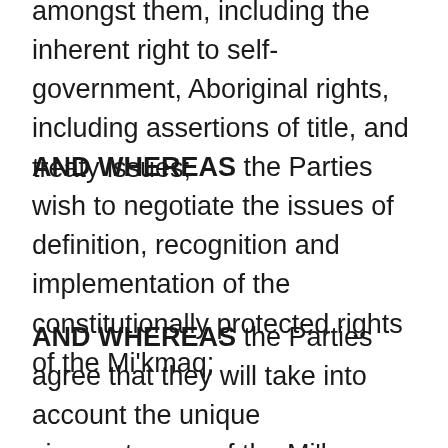amongst them, including the inherent right to self-government, Aboriginal rights, including assertions of title, and treaty issues;
AND WHEREAS the Parties wish to negotiate the issues of definition, recognition and implementation of the constitutionally protected rights of the Mi'kmaq;
AND WHEREAS the Parties agree that they will take into account the unique circumstances of the Mi'kmaq when developing their mandates and that their positions may differ from Canada's Comprehensive Land Claims Policy;